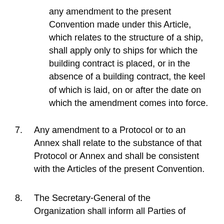any amendment to the present Convention made under this Article, which relates to the structure of a ship, shall apply only to ships for which the building contract is placed, or in the absence of a building contract, the keel of which is laid, on or after the date on which the amendment comes into force.
7. Any amendment to a Protocol or to an Annex shall relate to the substance of that Protocol or Annex and shall be consistent with the Articles of the present Convention.
8. The Secretary-General of the Organization shall inform all Parties of...